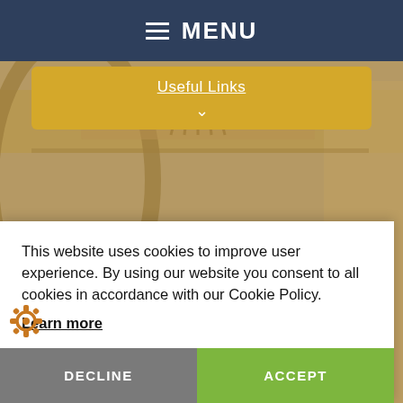MENU
Useful Links
[Figure (photo): Photograph of ornate stone building facade with carved decorative reliefs and columns; a blue and gold institutional shield/coat of arms is centered in the lower portion of the image]
This website uses cookies to improve user experience. By using our website you consent to all cookies in accordance with our Cookie Policy. Learn more
DECLINE
ACCEPT